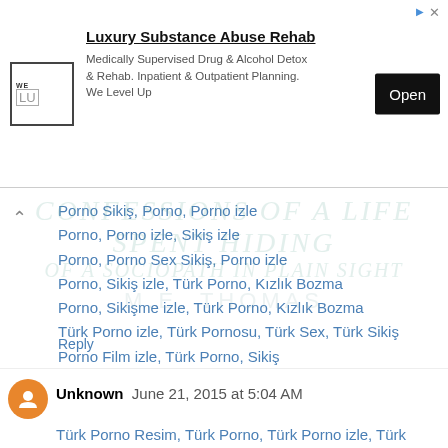[Figure (other): Advertisement banner for Luxury Substance Abuse Rehab by We Level Up, with logo, description text, and Open button]
Porno Sikiş, Porno, Porno izle
Porno, Porno izle, Sikiş izle
Porno, Porno Sex Sikiş, Porno izle
Porno, Sikiş izle, Türk Porno, Kızlık Bozma
Porno, Sikişme izle, Türk Porno, Kızlık Bozma
Türk Porno izle, Türk Pornosu, Türk Sex, Türk Sikiş
Porno Film izle, Türk Porno, Sikiş
Porno izle, Porno video seyret
Reply
Unknown  June 21, 2015 at 5:04 AM
Türk Porno Resim, Türk Porno, Türk Porno izle, Türk sikiş, Porno, Porno izle, Sikiş izle, Türk porno,Mobil Porno, Porno, Porno izle, Sikiş izle, Türk porno,Mobil Porno, Porno, Porno izle, Sikiş izle, Sikiş, Türk porno, Mobil Porno, Porno, Sikisme izle, Türk Porno, Kızlık Bozma, Porno